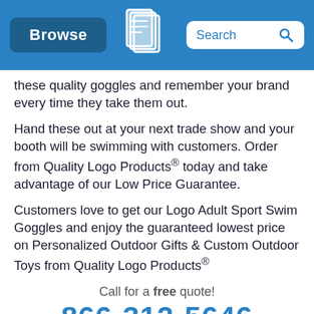Browse | [Quality Logo Products logo] | Search
these quality goggles and remember your brand every time they take them out.
Hand these out at your next trade show and your booth will be swimming with customers. Order from Quality Logo Products® today and take advantage of our Low Price Guarantee.
Customers love to get our Logo Adult Sport Swim Goggles and enjoy the guaranteed lowest price on Personalized Outdoor Gifts & Custom Outdoor Toys from Quality Logo Products®
Call for a free quote! 866-312-5646